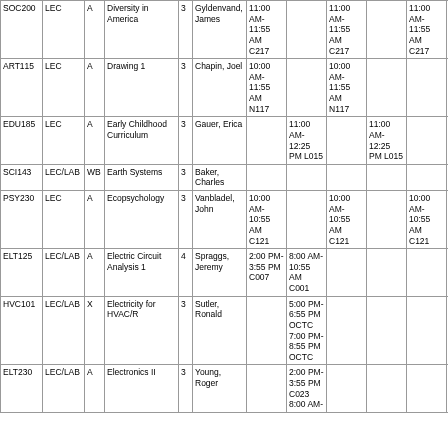| Course | Type | Sec | Title | Cr | Instructor | Mon | Tue | Wed | Thu | Fri |  |
| --- | --- | --- | --- | --- | --- | --- | --- | --- | --- | --- | --- |
| SOC200 | LEC | A | Diversity in America | 3 | Gyldenvand, James | 11:00 AM-11:55 AM C217 |  | 11:00 AM-11:55 AM C217 |  | 11:00 AM-11:55 AM C217 |  |
| ART115 | LEC | A | Drawing 1 | 3 | Chapin, Joel | 10:00 AM-11:55 AM N117 |  | 10:00 AM-11:55 AM N117 |  |  |  |
| EDU185 | LEC | A | Early Childhood Curriculum | 3 | Gauer, Erica |  | 11:00 AM-12:25 PM L015 |  | 11:00 AM-12:25 PM L015 |  |  |
| SCI143 | LEC/LAB | WB | Earth Systems | 3 | Baker, Charles |  |  |  |  |  |  |
| PSY230 | LEC | A | Ecopsychology | 3 | Vanbladel, John | 10:00 AM-10:55 AM C121 |  | 10:00 AM-10:55 AM C121 |  | 10:00 AM-10:55 AM C121 |  |
| ELT125 | LEC/LAB | A | Electric Circuit Analysis 1 | 4 | Spraggs, Jeremy | 2:00 PM-3:55 PM C007 | 8:00 AM-10:55 AM C001 |  |  |  |  |
| HVC101 | LEC/LAB | X | Electricity for HVAC/R | 3 | Sutler, Ronald |  | 5:00 PM-6:55 PM OCTC 7:00 PM-8:55 PM OCTC |  |  |  |  |
| ELT230 | LEC/LAB | A | Electronics II | 3 | Young, Roger |  | 2:00 PM-3:55 PM C023 8:00 AM- |  |  |  |  |